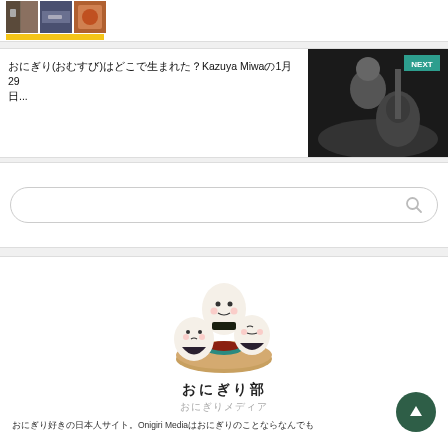[Figure (photo): Top strip with thumbnail images including food and restaurant photos, with yellow bar below]
おにぎり(おむすび)はどこで生まれた？Kazuya Miwaの1月29日...
[Figure (photo): Black and white photo of person sitting with acoustic guitar, NEXT badge in top right corner]
[Figure (other): Search box with magnifying glass icon]
[Figure (illustration): Cute cartoon onigiri (rice ball) characters with faces, sitting around a bowl of sauce on a wooden plate]
おにぎり部
おにぎりメディア
おにぎり好きの日本人サイト。Onigiri Mediaはおにぎりのことならなんでも